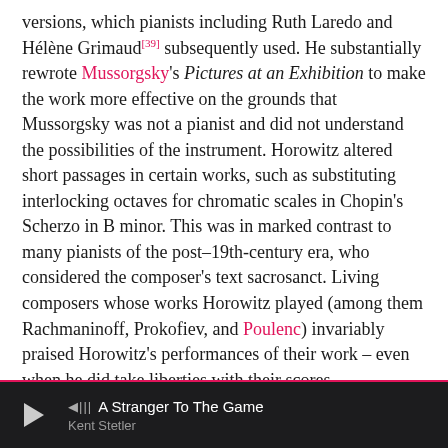versions, which pianists including Ruth Laredo and Hélène Grimaud[39] subsequently used. He substantially rewrote Mussorgsky's Pictures at an Exhibition to make the work more effective on the grounds that Mussorgsky was not a pianist and did not understand the possibilities of the instrument. Horowitz altered short passages in certain works, such as substituting interlocking octaves for chromatic scales in Chopin's Scherzo in B minor. This was in marked contrast to many pianists of the post–19th-century era, who considered the composer's text sacrosanct. Living composers whose works Horowitz played (among them Rachmaninoff, Prokofiev, and Poulenc) invariably praised Horowitz's performances of their work – even when he did take liberties with their scores.
Horowitz's interpretations were well received by concert audiences, but not by some critics. Virgil Thomson was famous for his consistent criticism of Horowitz as a "master of
A Stranger To The Game — Kent Stetler